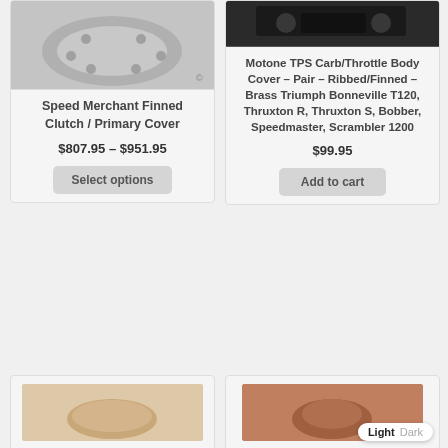[Figure (photo): Speed Merchant Finned Clutch / Primary Cover product photo - silver mechanical part]
Speed Merchant Finned Clutch / Primary Cover
$807.95 – $951.95
Select options
[Figure (photo): Motone TPS Carb/Throttle Body Cover product photo - dark background with motorcycle part]
Motone TPS Carb/Throttle Body Cover – Pair – Ribbed/Finned – Brass Triumph Bonneville T120, Thruxton R, Thruxton S, Bobber, Speedmaster, Scrambler 1200
$99.95
Add to cart
[Figure (photo): Product photo bottom left - warm toned motorcycle accessory]
[Figure (photo): Product photo bottom right - copper/brown toned motorcycle accessory]